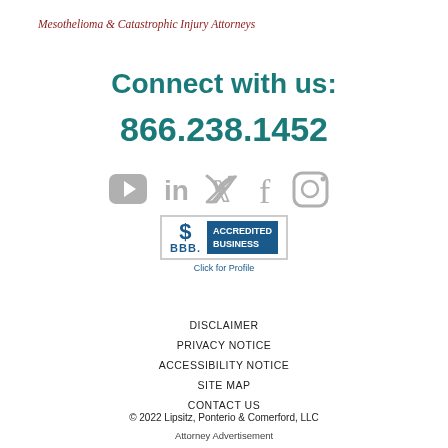Mesothelioma & Catastrophic Injury Attorneys
Connect with us:
866.238.1452
[Figure (infographic): Social media icons row: YouTube, LinkedIn, Twitter, Facebook, Instagram — all in gray]
[Figure (logo): BBB Accredited Business badge with Click for Profile text below]
DISCLAIMER
PRIVACY NOTICE
ACCESSIBILITY NOTICE
SITE MAP
CONTACT US
© 2022 Lipsitz, Ponterio & Comerford, LLC
Attorney Advertisement